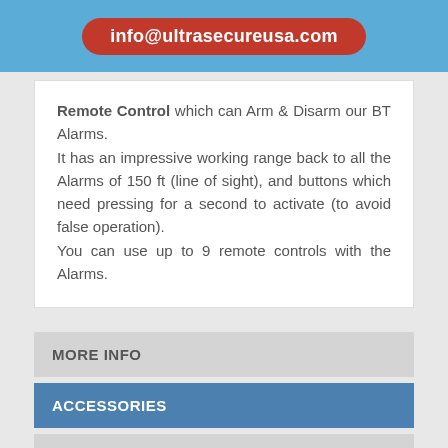info@ultrasecureusa.com
Remote Control which can Arm & Disarm our BT Alarms.
It has an impressive working range back to all the Alarms of 150 ft (line of sight), and buttons which need pressing for a second to activate (to avoid false operation).
You can use up to 9 remote controls with the Alarms.
MORE INFO
ACCESSORIES
NEED HELP?